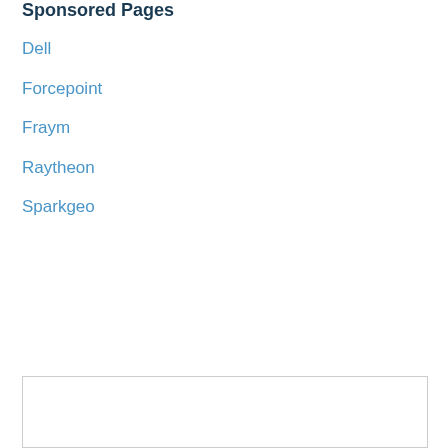Sponsored Pages
Dell
Forcepoint
Fraym
Raytheon
Sparkgeo
[Figure (other): Advertisement placeholder box (empty rectangle with border)]